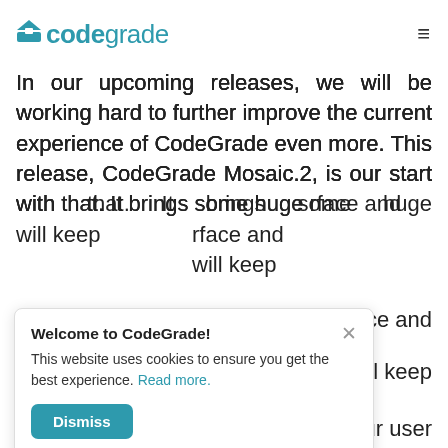codegrade [logo with hamburger menu]
In our upcoming releases, we will be working hard to further improve the current experience of CodeGrade even more. This release, CodeGrade Mosaic.2, is our start with that. It brings some huge [rface and will keep our user
[Figure (screenshot): Cookie consent popup with title 'Welcome to CodeGrade!', body text 'This website uses cookies to ensure you get the best experience. Read more.', a close X button, and a teal 'Dismiss' button.]